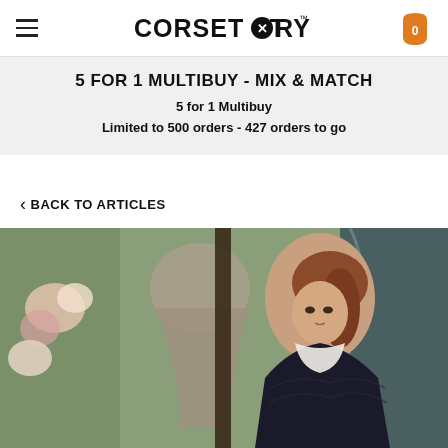CORSET STORY
5 FOR 1 MULTIBUY - MIX & MATCH
5 for 1 Multibuy
Limited to 500 orders - 427 orders to go
BACK TO ARTICLES
[Figure (photo): Woman with red hair in an updo wearing a dark Victorian-style lace dress, seated in front of a decorative tapestry and floral arrangement, with a corset mannequin visible in the background.]